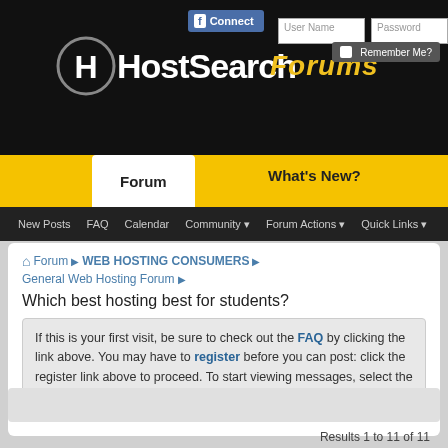HostSearch Forums
Forum | What's New?
New Posts | FAQ | Calendar | Community | Forum Actions | Quick Links
Forum ▶ WEB HOSTING CONSUMERS ▶ General Web Hosting Forum ▶
Which best hosting best for students?
If this is your first visit, be sure to check out the FAQ by clicking the link above. You may have to register before you can post: click the register link above to proceed. To start viewing messages, select the forum that you want to visit from the selection below.
Results 1 to 11 of 11